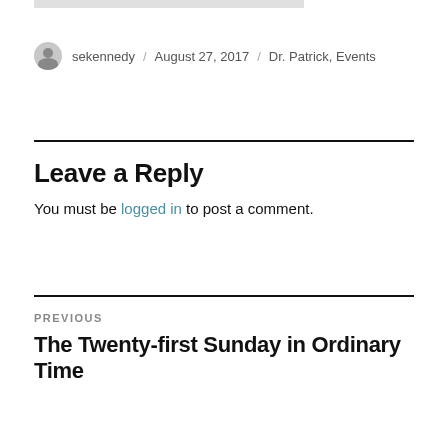sekennedy / August 27, 2017 / Dr. Patrick, Events
Leave a Reply
You must be logged in to post a comment.
PREVIOUS
The Twenty-first Sunday in Ordinary Time